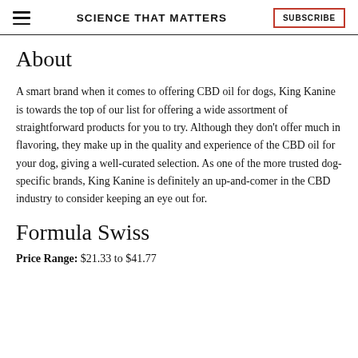SCIENCE THAT MATTERS
About
A smart brand when it comes to offering CBD oil for dogs, King Kanine is towards the top of our list for offering a wide assortment of straightforward products for you to try. Although they don't offer much in flavoring, they make up in the quality and experience of the CBD oil for your dog, giving a well-curated selection. As one of the more trusted dog-specific brands, King Kanine is definitely an up-and-comer in the CBD industry to consider keeping an eye out for.
Formula Swiss
Price Range: $21.33 to $41.77